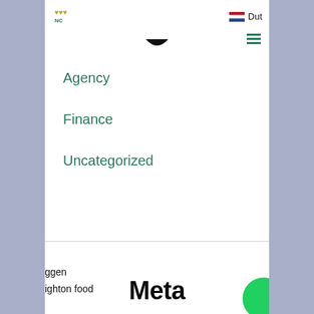[Figure (logo): Small website logo top-left, text in gold color]
[Figure (illustration): Dutch flag icon (red/white/blue horizontal stripes)]
Dut
[Figure (illustration): Hamburger menu icon (3 green horizontal lines)]
[Figure (illustration): Chevron/smile arc shape in dark color at top center]
Agency
Finance
Uncategorized
Meta
ggen
ighton food